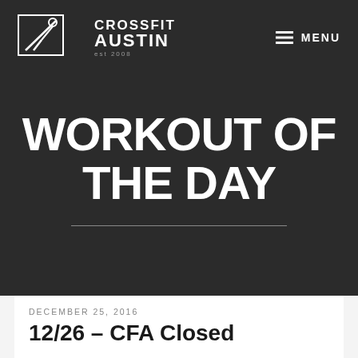[Figure (logo): CrossFit Austin logo with stylized figure and text, est 2008]
MENU
WORKOUT OF THE DAY
DECEMBER 25, 2016
12/26 – CFA Closed